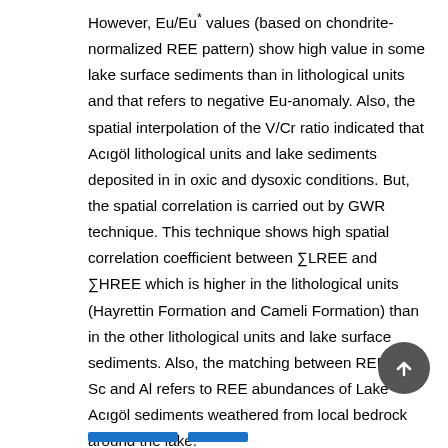However, Eu/Eu* values (based on chondrite-normalized REE pattern) show high value in some lake surface sediments than in lithological units and that refers to negative Eu-anomaly. Also, the spatial interpolation of the V/Cr ratio indicated that Acıgöl lithological units and lake sediments deposited in in oxic and dysoxic conditions. But, the spatial correlation is carried out by GWR technique. This technique shows high spatial correlation coefficient between ∑LREE and ∑HREE which is higher in the lithological units (Hayrettin Formation and Cameli Formation) than in the other lithological units and lake surface sediments. Also, the matching between REEs and Sc and Al refers to REE abundances of Lake Acıgöl sediments weathered from local bedrock around the lake. Keywords: spatial geochemical modeling, IDW, GWR techniques, REE, lake sediments, Lake Acıgöl, Turkey